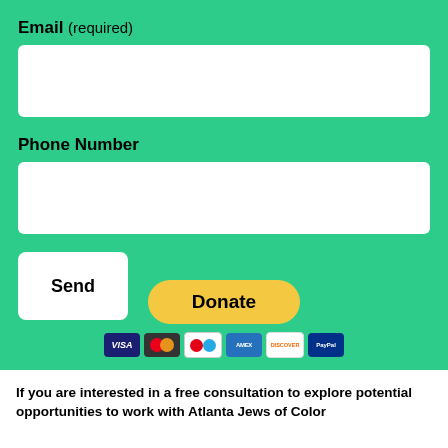Email (required)
Phone Number
Send
[Figure (other): Donate button with PayPal styling (yellow pill button) and payment method icons: Visa, Mastercard, Maestro, Amex, Discover, and another card]
If you are interested in a free consultation to explore potential opportunities to work with Atlanta Jews of Color